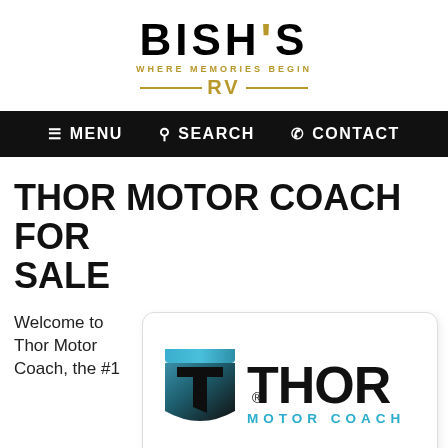[Figure (logo): Bish's RV logo — 'BISH'S' in large bold black letters with a gold/tan Y-shape accent, tagline 'WHERE MEMORIES BEGIN' in gold uppercase, and 'RV' in gold with gold horizontal lines on either side]
☰ MENU  🔍 SEARCH  📞 CONTACT
THOR MOTOR COACH FOR SALE
Welcome to Thor Motor Coach, the #1
[Figure (logo): Thor Motor Coach logo — shield icon in dark teal/black gradient with a T-shaped cutout, and 'THOR' in large bold black letters with a registered trademark symbol, 'MOTOR COACH' in teal spaced letters below]